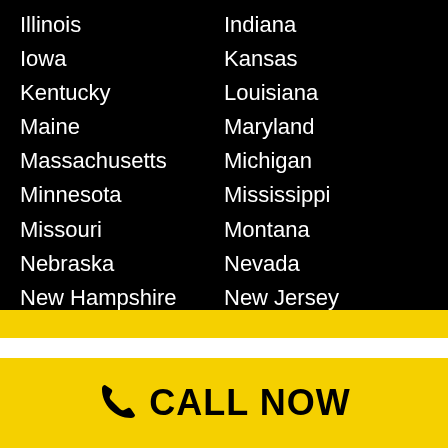Illinois
Indiana
Iowa
Kansas
Kentucky
Louisiana
Maine
Maryland
Massachusetts
Michigan
Minnesota
Mississippi
Missouri
Montana
Nebraska
Nevada
New Hampshire
New Jersey
CALL NOW